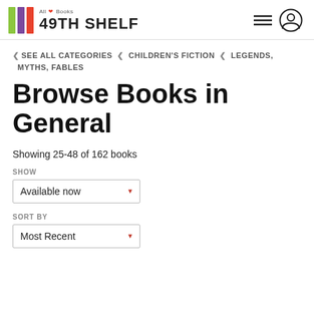49TH SHELF — All Books
< SEE ALL CATEGORIES < CHILDREN'S FICTION < LEGENDS, MYTHS, FABLES
Browse Books in General
Showing 25-48 of 162 books
SHOW
Available now
SORT BY
Most Recent